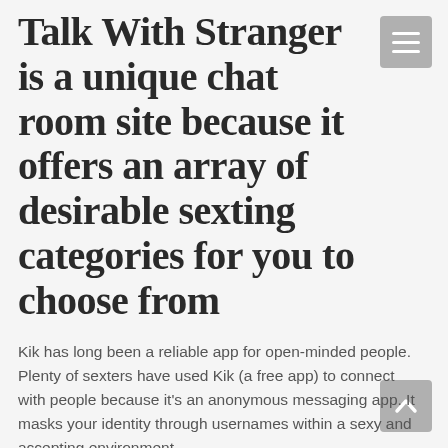Talk With Stranger is a unique chat room site because it offers an array of desirable sexting categories for you to choose from
Kik has long been a reliable app for open-minded people. Plenty of sexters have used Kik (a free app) to connect with people because it's an anonymous messaging app. It masks your identity through usernames within a sexy and accepting environment.